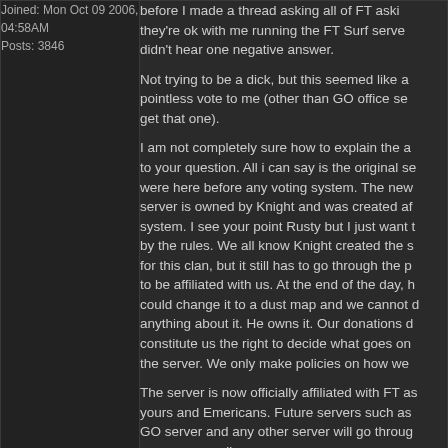Joined: Mon Oct 09 2006, 04:58AM
Posts: 3846
before I made a thread asking all of FT asking if they're ok with me running the FT Surf server. I didn't hear one negative answer.

Not trying to be a dick, but this seemed like a pointless vote to me (other than GO office se... get that one).

I am not completely sure how to explain the a... to your question. All i can say is the original se... were here before any voting system. The new... server is owned by Knight and was created af... system. I see your point Rusty but I just want t... by the rules. We all know Knight created the s... for this clan, but it still has to go through the p... to be affiliated with us. At the end of the day, h... could change it to a dust map and we cannot d... anything about it. He owns it. Our donations d... constitute us the right to decide what goes on... the server. We only make policies on how we...

The server is now officially affiliated with FT as... yours and Emericans. Future servers such as... GO server and any other server will go throug... process as well.
Back to top
RUSTY
THU AUG 09 2012, 01:53AM
FTS Server Op
I thought the vote brought the Office GO serve...